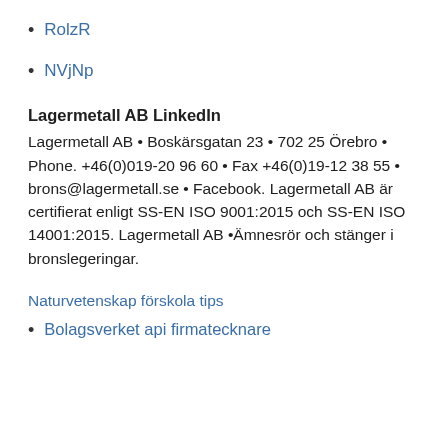RolzR
NVjNp
Lagermetall AB LinkedIn
Lagermetall AB • Boskärsgatan 23 • 702 25 Örebro • Phone. +46(0)019-20 96 60 • Fax +46(0)19-12 38 55 • brons@lagermetall.se • Facebook. Lagermetall AB är certifierat enligt SS-EN ISO 9001:2015 och SS-EN ISO 14001:2015. Lagermetall AB •Ämnesrör och stänger i bronslegeringar.
Naturvetenskap förskola tips
Bolagsverket api firmatecknare